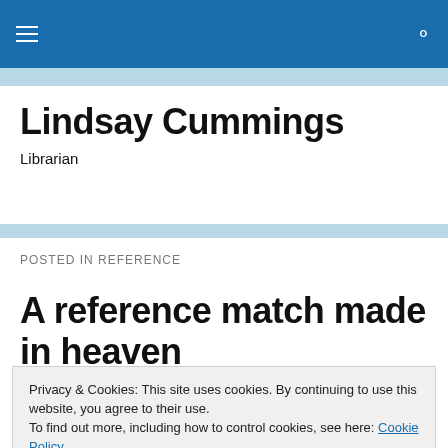Navigation bar with hamburger menu and search icon
Lindsay Cummings
Librarian
POSTED IN REFERENCE
A reference match made in heaven
Privacy & Cookies: This site uses cookies. By continuing to use this website, you agree to their use.
To find out more, including how to control cookies, see here: Cookie Policy